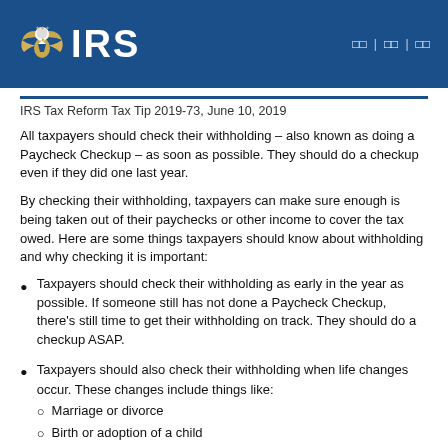IRS
IRS Tax Reform Tax Tip 2019-73, June 10, 2019
All taxpayers should check their withholding – also known as doing a Paycheck Checkup – as soon as possible. They should do a checkup even if they did one last year.
By checking their withholding, taxpayers can make sure enough is being taken out of their paychecks or other income to cover the tax owed. Here are some things taxpayers should know about withholding and why checking it is important:
Taxpayers should check their withholding as early in the year as possible. If someone still has not done a Paycheck Checkup, there's still time to get their withholding on track. They should do a checkup ASAP.
Taxpayers should also check their withholding when life changes occur. These changes include things like:
Marriage or divorce
Birth or adoption of a child
Purchase of a home